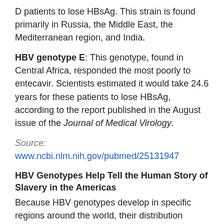D patients to lose HBsAg. This strain is found primarily in Russia, the Middle East, the Mediterranean region, and India.
HBV genotype E: This genotype, found in Central Africa, responded the most poorly to entecavir. Scientists estimated it would take 24.6 years for these patients to lose HBsAg, according to the report published in the August issue of the Journal of Medical Virology.
Source: www.ncbi.nlm.nih.gov/pubmed/25131947
HBV Genotypes Help Tell the Human Story of Slavery in the Americas
Because HBV genotypes develop in specific regions around the world, their distribution around the world today can help tell the story of mass human migrations, including the enslavement and forced migration of millions of Africans to Brazil since the